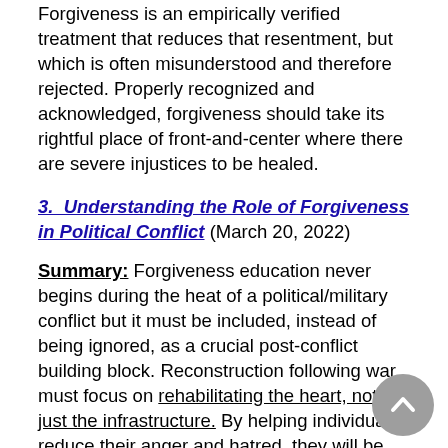Forgiveness is an empirically verified treatment that reduces that resentment, but which is often misunderstood and therefore rejected. Properly recognized and acknowledged, forgiveness should take its rightful place of front-and-center where there are severe injustices to be healed.
3.  Understanding the Role of Forgiveness in Political Conflict (March 20, 2022)
Summary: Forgiveness education never begins during the heat of a political/military conflict but it must be included, instead of being ignored, as a crucial post-conflict building block. Reconstruction following war must focus on rehabilitating the heart, not just the infrastructure. By helping individuals reduce their anger and hatred, they will be more likely to be more open to traditional rehabilitation measures and can be set free from unhealthy resentment that will tamper